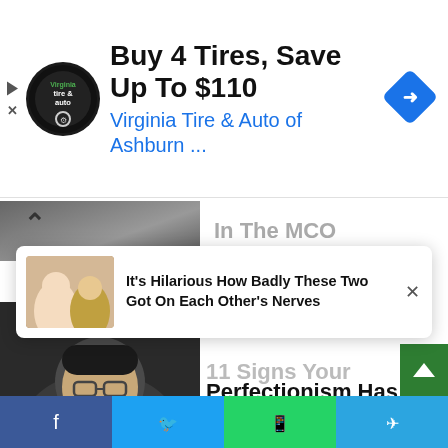[Figure (other): Advertisement banner: Virginia Tire & Auto of Ashburn logo, headline 'Buy 4 Tires, Save Up To $110', subtext 'Virginia Tire & Auto of Ashburn ...', blue navigation arrow icon on right, play/close icons on left]
[Figure (photo): Partially visible photo strip of people at top of article area with chevron up arrow]
[Figure (other): Popup notification card with couple photo thumbnail and text 'It's Hilarious How Badly These Two Got On Each Other's Nerves' with X close button]
[Figure (photo): Article thumbnail showing a person making a pouty face close-up]
11 Signs Your Perfectionism Has Gotten Out Of Control
Herbeauty
“Kurt sings ‘Pink Houses’ and pretends to be straight,” the original Twitter user wrote.
“What about the literally criminal scene where Mr. Schue tries to stop Rachel’s crush by singing two songs about wanting